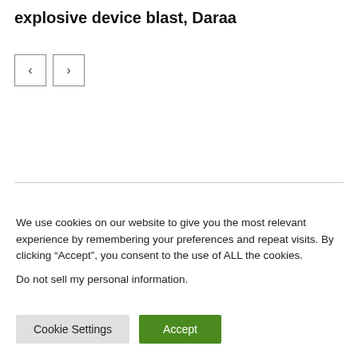explosive device blast, Daraa
[Figure (other): Navigation buttons: left arrow (<) and right arrow (>)]
We use cookies on our website to give you the most relevant experience by remembering your preferences and repeat visits. By clicking “Accept”, you consent to the use of ALL the cookies.
Do not sell my personal information.
Cookie Settings  Accept